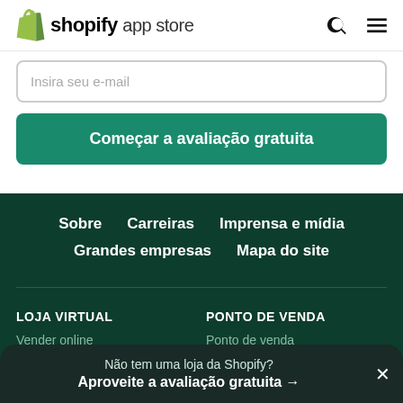shopify app store
Insira seu e-mail
Começar a avaliação gratuita
Sobre   Carreiras   Imprensa e mídia
Grandes empresas   Mapa do site
LOJA VIRTUAL
Vender online
Exemplos
PONTO DE VENDA
Ponto de venda
Não tem uma loja da Shopify?
Aproveite a avaliação gratuita →